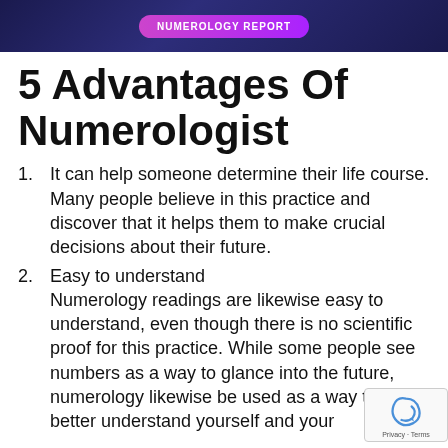[Figure (illustration): Banner image with dark blue/purple galaxy background and a pink/purple button labeled 'NUMEROLOGY REPORT']
5 Advantages Of Numerologist
It can help someone determine their life course. Many people believe in this practice and discover that it helps them to make crucial decisions about their future.
Easy to understand
Numerology readings are likewise easy to understand, even though there is no scientific proof for this practice. While some people see numbers as a way to glance into the future, numerology likewise be used as a way to much better understand yourself and your